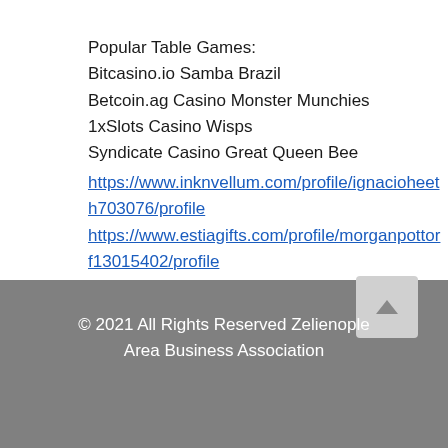Popular Table Games:
Bitcasino.io Samba Brazil
Betcoin.ag Casino Monster Munchies
1xSlots Casino Wisps
Syndicate Casino Great Queen Bee
https://www.inknvellum.com/profile/ignacioheeth703076/profile
https://www.estiagifts.com/profile/morganpottorf13015402/profile
https://www.dermaloch.co.uk/profile/roysatre15808963/profile
https://www.moniquediltz.com/profile/londacostello4727948/profile
© 2021 All Rights Reserved Zelienople Area Business Association